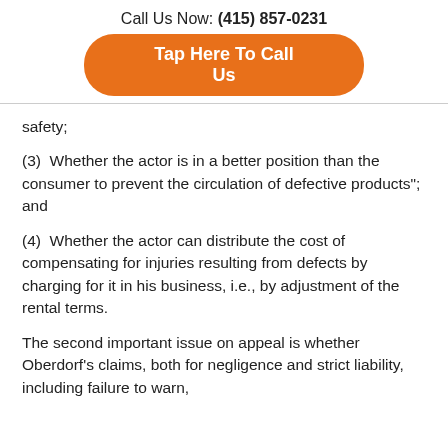Call Us Now: (415) 857-0231
Tap Here To Call Us
safety;
(3)  Whether the actor is in a better position than the consumer to prevent the circulation of defective products"; and
(4)  Whether the actor can distribute the cost of compensating for injuries resulting from defects by charging for it in his business, i.e., by adjustment of the rental terms.
The second important issue on appeal is whether Oberdorf's claims, both for negligence and strict liability, including failure to warn, i